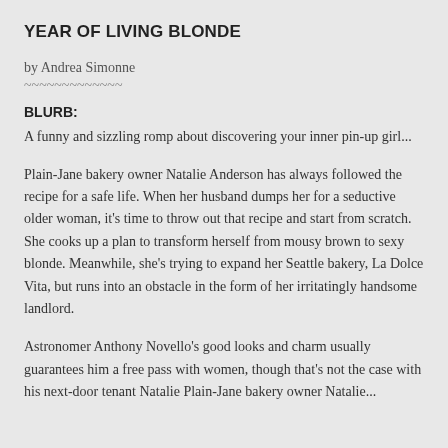YEAR OF LIVING BLONDE
by Andrea Simonne
~~~~~~~~~~~~~
BLURB:
A funny and sizzling romp about discovering your inner pin-up girl...
Plain-Jane bakery owner Natalie Anderson has always followed the recipe for a safe life. When her husband dumps her for a seductive older woman, it’s time to throw out that recipe and start from scratch. She cooks up a plan to transform herself from mousy brown to sexy blonde. Meanwhile, she’s trying to expand her Seattle bakery, La Dolce Vita, but runs into an obstacle in the form of her irritatingly handsome landlord.
Astronomer Anthony Novello’s good looks and charm usually guarantees him a free pass with women, though that’s not the case with his next-door tenant Natalie Plain-Jane bakery owner Natalie...